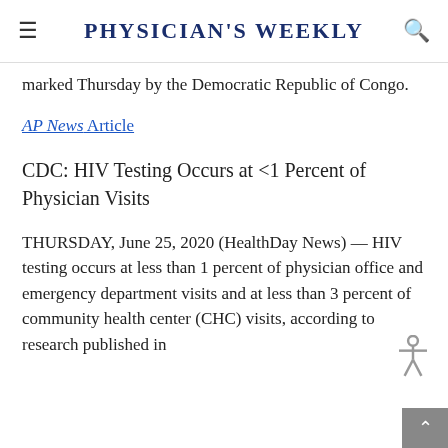Physician's Weekly
marked Thursday by the Democratic Republic of Congo.
AP News Article
CDC: HIV Testing Occurs at <1 Percent of Physician Visits
THURSDAY, June 25, 2020 (HealthDay News) — HIV testing occurs at less than 1 percent of physician office and emergency department visits and at less than 3 percent of community health center (CHC) visits, according to research published in